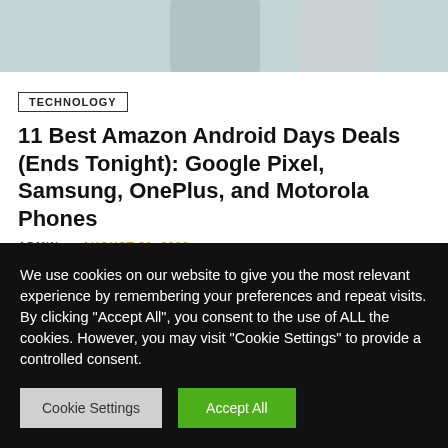[Figure (photo): Partial top image showing smartphones on a light teal/gray background]
TECHNOLOGY
11 Best Amazon Android Days Deals (Ends Tonight): Google Pixel, Samsung, OnePlus, and Motorola Phones
ADMIN – AUGUST 31, 2022
We use cookies on our website to give you the most relevant experience by remembering your preferences and repeat visits. By clicking "Accept All", you consent to the use of ALL the cookies. However, you may visit "Cookie Settings" to provide a controlled consent.